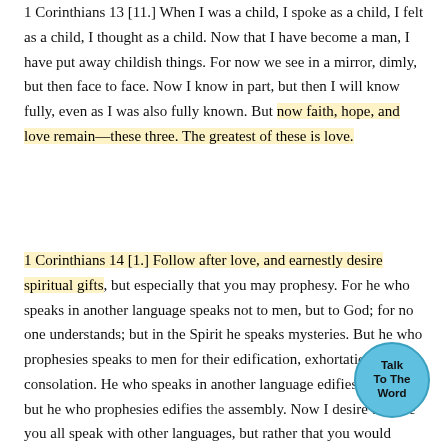1 Corinthians 13 [11.] When I was a child, I spoke as a child, I felt as a child, I thought as a child. Now that I have become a man, I have put away childish things. For now we see in a mirror, dimly, but then face to face. Now I know in part, but then I will know fully, even as I was also fully known. But now faith, hope, and love remain—these three. The greatest of these is love.
1 Corinthians 14 [1.] Follow after love, and earnestly desire spiritual gifts, but especially that you may prophesy. For he who speaks in another language speaks not to men, but to God; for no one understands; but in the Spirit he speaks mysteries. But he who prophesies speaks to men for their edification, exhortation, and consolation. He who speaks in another language edifies himself, but he who prophesies edifies the assembly. Now I desire to have you all speak with other languages, but rather that you would prophesy. For he is greater